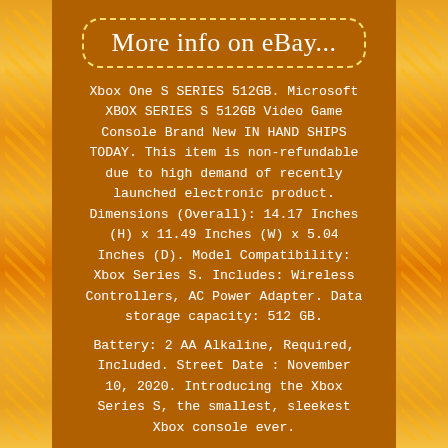More info on eBay...
Xbox One S SERIES 512GB. Microsoft XBOX SERIES S 512GB Video Game Console Brand New IN HAND SHIPS TODAY. This item is non-refundable due to high demand of recently launched electronic product. Dimensions (Overall): 14.17 Inches (H) x 11.49 Inches (W) x 5.04 Inches (D). Model Compatibility: Xbox Series S. Includes: Wireless Controllers, AC Power Adapter. Data storage capacity: 512 GB.
Battery: 2 AA Alkaline, Required, Included. Street Date : November 10, 2020. Introducing the Xbox Series S, the smallest, sleekest Xbox console ever.